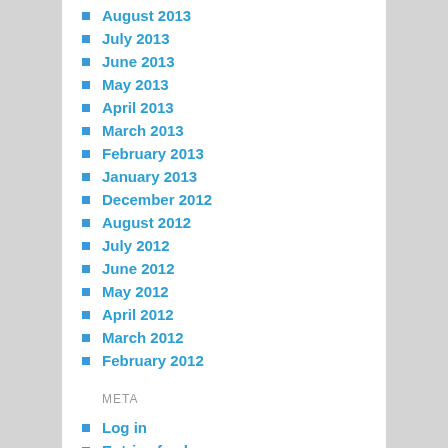August 2013
July 2013
June 2013
May 2013
April 2013
March 2013
February 2013
January 2013
December 2012
August 2012
July 2012
June 2012
May 2012
April 2012
March 2012
February 2012
META
Log in
Entries feed
Comments feed